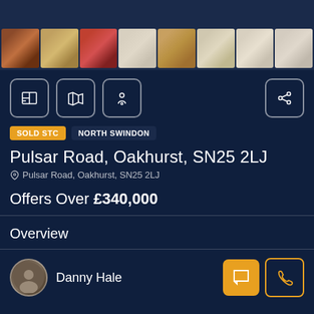[Figure (photo): Property photo strip showing main exterior and thumbnail gallery of interior rooms for Pulsar Road, Oakhurst, SN25 2LJ]
[Figure (other): Navigation icon buttons: floor plan, map, street view, and share]
SOLD STC  NORTH SWINDON
Pulsar Road, Oakhurst, SN25 2LJ
Pulsar Road, Oakhurst, SN25 2LJ
Offers Over £340,000
Overview
Danny Hale